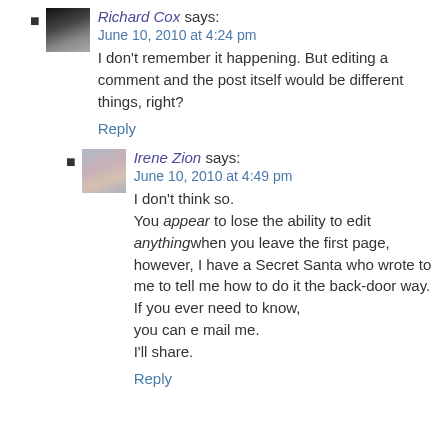Richard Cox says: June 10, 2010 at 4:24 pm
I don't remember it happening. But editing a comment and the post itself would be different things, right?
Reply
Irene Zion says: June 10, 2010 at 4:49 pm
I don't think so.
You appear to lose the ability to edit anythingwhen you leave the first page, however, I have a Secret Santa who wrote to me to tell me how to do it the back-door way. If you ever need to know,
you can e mail me.
I'll share.
Reply